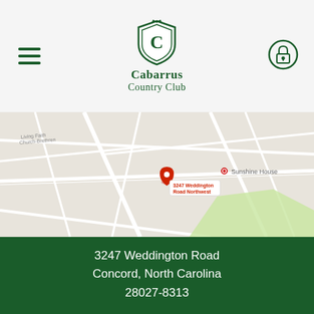Cabarrus Country Club
[Figure (map): Google Maps screenshot showing the location of 3247 Weddington Road Northwest, Concord NC, with a red pin marker and label, surrounded by nearby roads and landmarks including Sunshine House]
3247 Weddington Road
Concord, North Carolina
28027-8313
P: 704-786-3104
F: 704-788-4241
[Figure (infographic): Facebook and Instagram social media icons in white]
Powered by Jonas Club Software